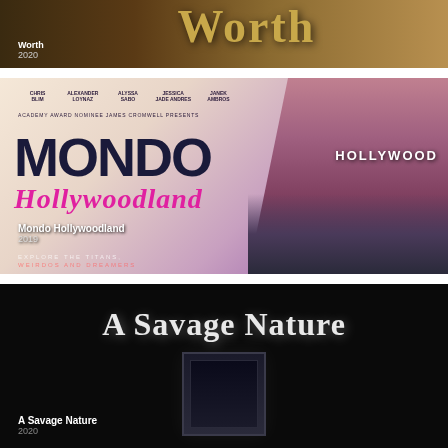[Figure (photo): Movie card for 'Worth' (2020) showing bottom portion of movie poster with golden title text 'Worth' on a dark golden-brown background]
[Figure (photo): Movie card for 'Mondo Hollywoodland' (2019) showing the movie poster with cast names, large MONDO title text, pink cursive Hollywoodland script, and Hollywood sign in background with purple-toned imagery]
[Figure (photo): Movie card for 'A Savage Nature' (2020) showing the movie poster with white serif title text on black background with a dark window/frame element]